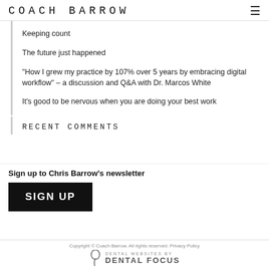COACH BARROW
Keeping count
The future just happened
"How I grew my practice by 107% over 5 years by embracing digital workflow" – a discussion and Q&A with Dr. Marcos White
It’s good to be nervous when you are doing your best work
RECENT COMMENTS
Sign up to Chris Barrow’s newsletter
SIGN UP
Copyright © Coach Barrow. All rights reserved. Privacy Policy
DENTAL WEBSITES BY DENTAL FOCUS